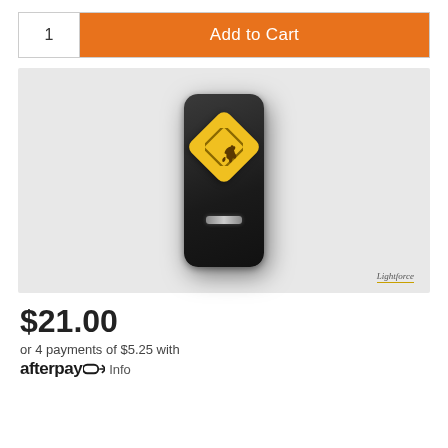1  Add to Cart
[Figure (photo): Black rocker switch with a yellow diamond-shaped kangaroo road sign badge on a gray background, Lightforce brand watermark at bottom right]
$21.00
or 4 payments of $5.25 with afterpay Info